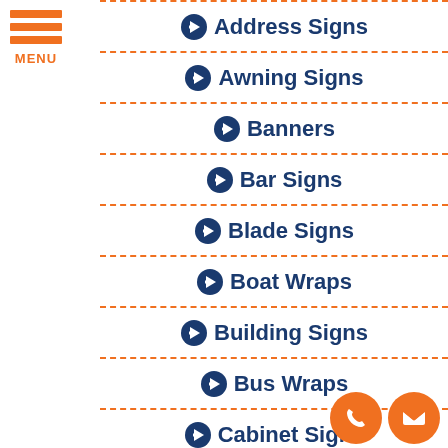[Figure (infographic): Orange hamburger menu icon with three horizontal bars and MENU label]
Address Signs
Awning Signs
Banners
Bar Signs
Blade Signs
Boat Wraps
Building Signs
Bus Wraps
Cabinet Signs